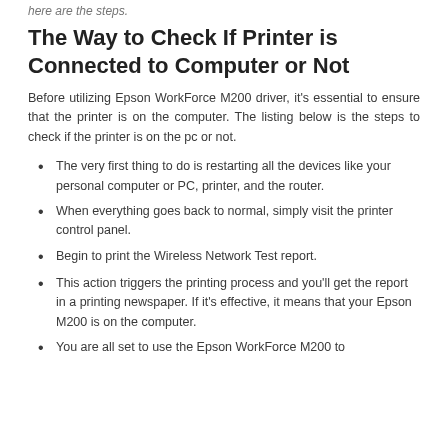here are the steps.
The Way to Check If Printer is Connected to Computer or Not
Before utilizing Epson WorkForce M200 driver, it's essential to ensure that the printer is on the computer. The listing below is the steps to check if the printer is on the pc or not.
The very first thing to do is restarting all the devices like your personal computer or PC, printer, and the router.
When everything goes back to normal, simply visit the printer control panel.
Begin to print the Wireless Network Test report.
This action triggers the printing process and you'll get the report in a printing newspaper. If it's effective, it means that your Epson M200 is on the computer.
You are all set to use the Epson WorkForce M200 to